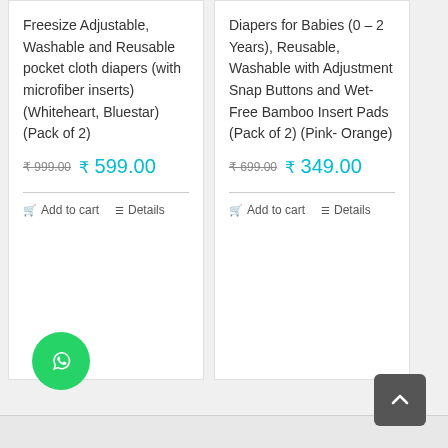Freesize Adjustable, Washable and Reusable pocket cloth diapers (with microfiber inserts) (Whiteheart, Bluestar) (Pack of 2)
₹999.00  ₹ 599.00
Add to cart   Details
Diapers for Babies (0 – 2 Years), Reusable, Washable with Adjustment Snap Buttons and Wet-Free Bamboo Insert Pads (Pack of 2) (Pink- Orange)
₹699.00  ₹ 349.00
Add to cart   Details